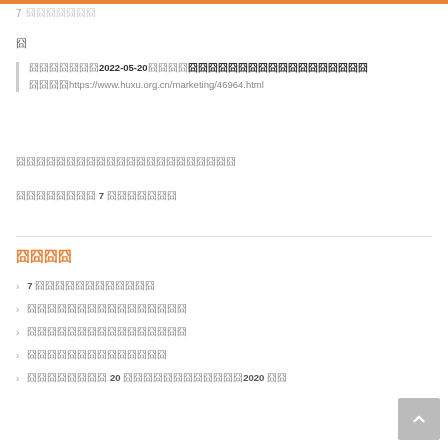7 囧囧囧囧囧
囧
囧囧囧囧囧囧囧2022-05-20囧囧囧囧囧囧囧囧囧囧囧囧囧囧囧囧囧囧囧囧囧囧https://www.huxu.org.cn/marketing/46964.html
囧囧囧囧囧囧囧囧囧囧囧囧囧囧囧囧囧囧
囧囧囧囧囧囧囧囧 7 囧囧囧囧囧囧囧
囧囧囧囧
7 囧囧囧囧囧囧囧囧囧囧囧囧
囧囧囧囧囧囧囧囧囧囧囧囧囧囧囧囧
囧囧囧囧囧囧囧囧囧囧囧囧囧囧囧囧
囧囧囧囧囧囧囧囧囧囧囧囧囧囧
囧囧囧囧囧囧囧囧 20 囧囧囧囧囧囧囧囧囧囧囧囧2020 囧囧